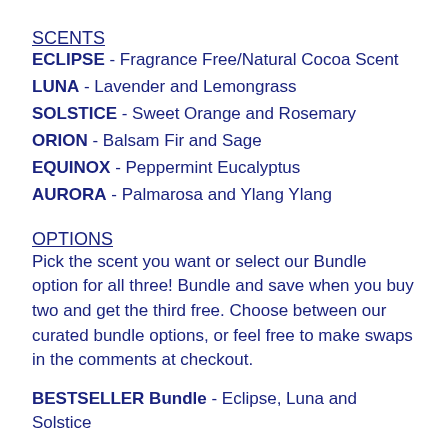SCENTS
ECLIPSE - Fragrance Free/Natural Cocoa Scent
LUNA - Lavender and Lemongrass
SOLSTICE - Sweet Orange and Rosemary
ORION - Balsam Fir and Sage
EQUINOX - Peppermint Eucalyptus
AURORA - Palmarosa and Ylang Ylang
OPTIONS
Pick the scent you want or select our Bundle option for all three! Bundle and save when you buy two and get the third free. Choose between our curated bundle options, or feel free to make swaps in the comments at checkout.
BESTSELLER Bundle - Eclipse, Luna and Solstice